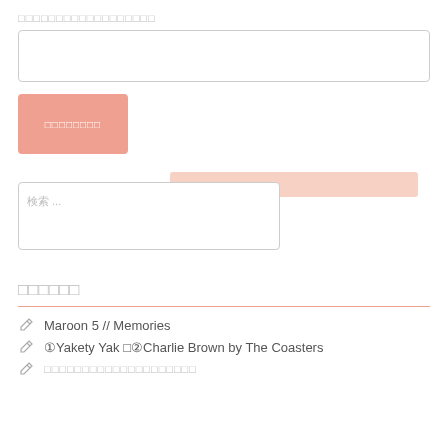□□□□□□□□□□□□□□□□□□
[Figure (screenshot): Empty text input box with border]
[Figure (screenshot): Salmon/pink submit button with small text label in white]
[Figure (screenshot): Search area with a salmon/pink highlighted bar overlapping a bordered search input box containing placeholder text]
□□□□□□
Maroon 5 // Memories
①Yakety Yak □②Charlie Brown by The Coasters
□□□□□□□□□□□□□□□□□□□□